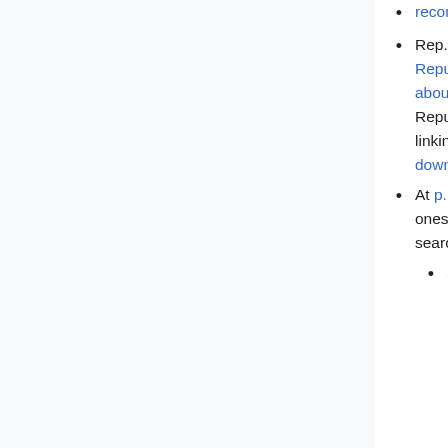recommendations, COMMUNIA, March 31, 2011.
Rep. Jim Jordan et al., Republican Study Committee Policy Brief: Three Myths about Copyright Law and Where to Start to Fix it, Republican Study Committee, November 16, 2012. I'm linking to a copy of the report, since the original was taken down one day after it was released.
At p. 24, I say, "Not all plagiarists are smart, but the smart ones will not steal from OA sources indexed in every search engine....OA deters plagiarism." Add this note.
See my article, Open Access and